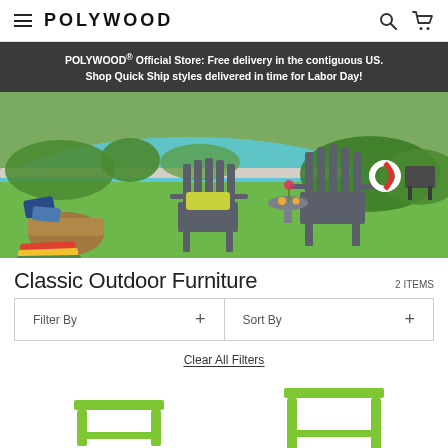POLYWOOD
POLYWOOD® Official Store: Free delivery in the contiguous US. Shop Quick Ship styles delivered in time for Labor Day!
[Figure (photo): Outdoor poolside scene with two grey Adirondack chairs and a small round side table on green grass, with a swimming pool in the background and greenery/bushes on the right. A wicker basket with blankets and a striped towel are on the left foreground.]
Classic Outdoor Furniture
2 ITEMS
Filter By +
Sort By +
Clear All Filters
[Figure (photo): Lime green small square side table with four legs, shown from a slight angle.]
[Figure (photo): Lime green taller square side table with four legs, shown from a slight angle.]